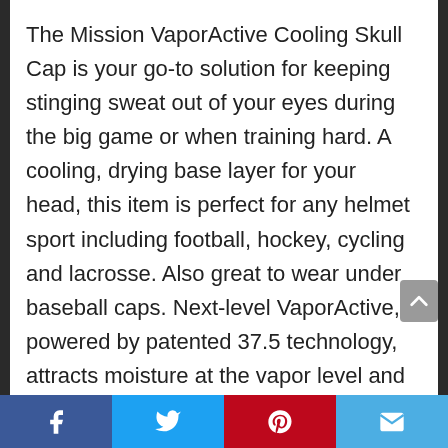The Mission VaporActive Cooling Skull Cap is your go-to solution for keeping stinging sweat out of your eyes during the big game or when training hard. A cooling, drying base layer for your head, this item is perfect for any helmet sport including football, hockey, cycling and lacrosse. Also great to wear under baseball caps. Next-level VaporActive, powered by patented 37.5 technology, attracts moisture at the vapor level and rapidly removes sweat, keeping you cool, dry and comfortable. Permanently embedded at the fiber level, the fast-drying technology never degrades or washes out. Fabric
Facebook | Twitter | Pinterest | Email